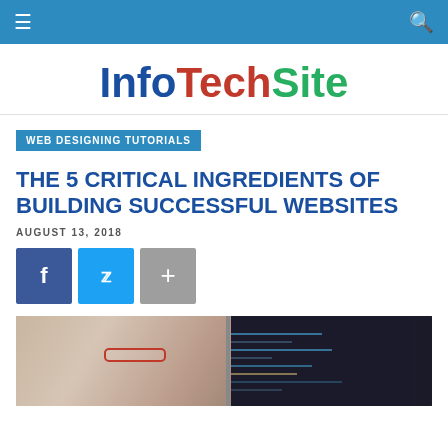≡  [navigation bar]  🔍
InfoTechSite
WEB DESIGNING TUTORIALS
THE 5 CRITICAL INGREDIENTS OF BUILDING SUCCESSFUL WEBSITES
AUGUST 13, 2018
[Figure (infographic): Social share buttons: Facebook (blue), Twitter (light blue), Plus (grey)]
[Figure (photo): Photo of a woman with red glasses looking at a computer monitor displaying code]